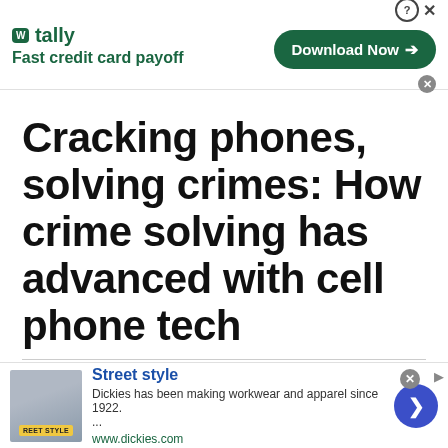[Figure (screenshot): Tally app advertisement banner with logo, 'Fast credit card payoff' tagline, and 'Download Now' green button with close/help controls]
Cracking phones, solving crimes: How crime solving has advanced with cell phone tech
By: Jake Goodrick, Gillette News Record via Wyoming News Exchange -
[Figure (screenshot): Dickies Street Style advertisement with image of woman in teal pants, text 'Street style', 'Dickies has been making workwear and apparel since 1922. ...', 'www.dickies.com', and a blue circular arrow button]